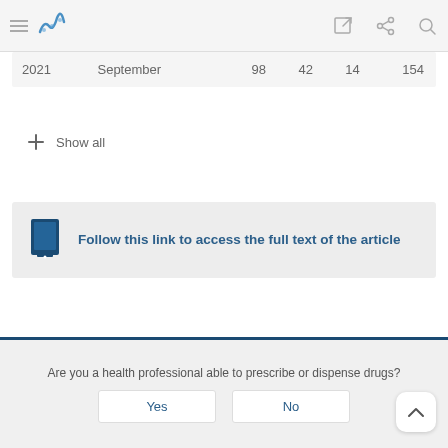Navigation bar with hamburger menu, logo, edit, share, and search icons
| Year | Month |  |  |  |  |
| --- | --- | --- | --- | --- | --- |
| 2021 | September | 98 | 42 | 14 | 154 |
+ Show all
Follow this link to access the full text of the article
Are you a health professional able to prescribe or dispense drugs?
Yes
No